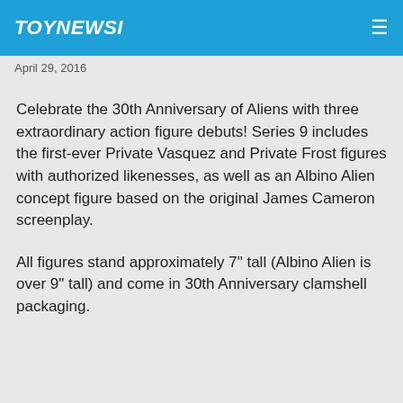TOYNEWSI
April 29, 2016
Celebrate the 30th Anniversary of Aliens with three extraordinary action figure debuts! Series 9 includes the first-ever Private Vasquez and Private Frost figures with authorized likenesses, as well as an Albino Alien concept figure based on the original James Cameron screenplay.
All figures stand approximately 7" tall (Albino Alien is over 9" tall) and come in 30th Anniversary clamshell packaging.